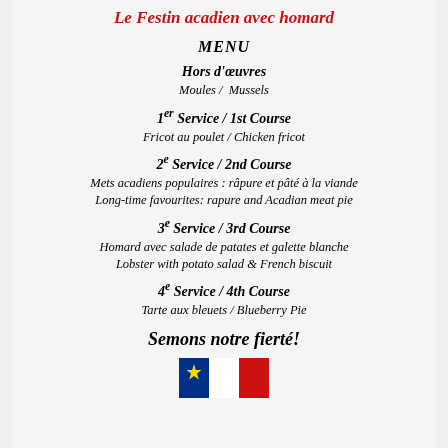Le Festin acadien avec homard
MENU
Hors d'œuvres
Moules / Mussels
1er Service / 1st Course
Fricot au poulet / Chicken fricot
2e Service / 2nd Course
Mets acadiens populaires : râpure et pâté à la viande
Long-time favourites: rapure and Acadian meat pie
3e Service / 3rd Course
Homard avec salade de patates et galette blanche
Lobster with potato salad & French biscuit
4e Service / 4th Course
Tarte aux bleuets / Blueberry Pie
Semons notre fierté!
[Figure (illustration): Acadian flags illustration at the bottom of the menu]